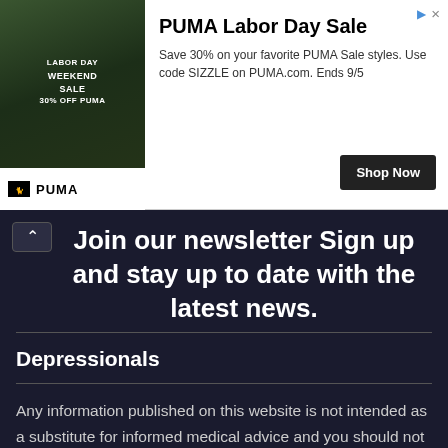[Figure (infographic): PUMA Labor Day Sale advertisement banner with a person wearing PUMA apparel and text 'LABOR DAY WEEKEND SALE 30% OFF PUMA', PUMA logo, and a 'Shop Now' button.]
PUMA Labor Day Sale
Save 30% on your favorite PUMA Sale styles. Use code SIZZLE on PUMA.com. Ends 9/5
Join our newsletter Sign up and stay up to date with the latest news.
Subscribe
Depressionals
Any information published on this website is not intended as a substitute for informed medical advice and you should not take any action before consulting with a mental